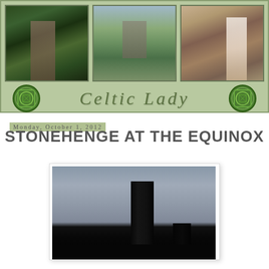[Figure (illustration): Celtic Lady blog header banner with three images: a woman in a garden, ruins by water, and a woman in a landscape. Features 'Celtic Lady' text with Celtic knot decorations on a sage green background.]
Monday, October 1, 2012
STONEHENGE AT THE EQUINOX
[Figure (photo): Photograph of Stonehenge standing stones silhouetted against a grey sky, showing tall dark monolith stones.]